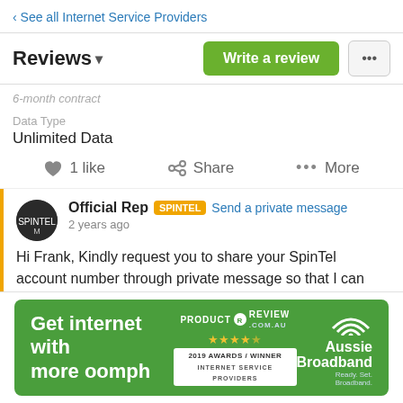‹ See all Internet Service Providers
Reviews ▾
6-month contract
Data Type
Unlimited Data
♥ 1 like   ‹ Share   ••• More
Official Rep SPINTEL Send a private message
2 years ago
Hi Frank, Kindly request you to share your SpinTel account number through private message so that I can investigate what went wrong in your case.

Regards!...
[Figure (infographic): Aussie Broadband advertisement banner: 'Get internet with more oomph', Product Review 2019 Awards Winner – Internet Service Providers]